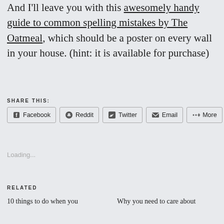And I'll leave you with this awesomely handy guide to common spelling mistakes by The Oatmeal, which should be a poster on every wall in your house. (hint: it is available for purchase)
SHARE THIS:
[Figure (screenshot): Share buttons for Facebook, Reddit, Twitter, Email, More]
Loading...
RELATED
10 things to do when you
Why you need to care about